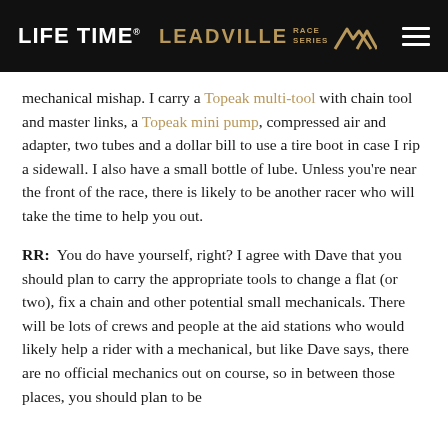LIFE TIME · LEADVILLE RACE SERIES
mechanical mishap. I carry a Topeak multi-tool with chain tool and master links, a Topeak mini pump, compressed air and adapter, two tubes and a dollar bill to use a tire boot in case I rip a sidewall. I also have a small bottle of lube. Unless you're near the front of the race, there is likely to be another racer who will take the time to help you out.
RR: You do have yourself, right? I agree with Dave that you should plan to carry the appropriate tools to change a flat (or two), fix a chain and other potential small mechanicals. There will be lots of crews and people at the aid stations who would likely help a rider with a mechanical, but like Dave says, there are no official mechanics out on course, so in between those places, you should plan to be